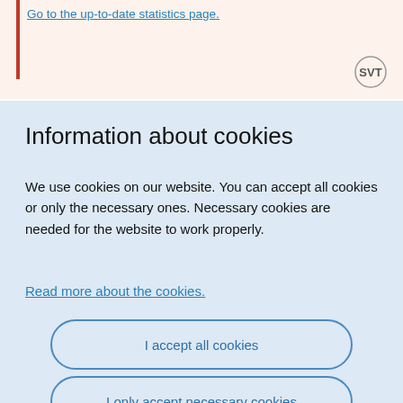Go to the up-to-date statistics page.
[Figure (logo): SVT circular logo mark]
Information about cookies
We use cookies on our website. You can accept all cookies or only the necessary ones. Necessary cookies are needed for the website to work properly.
Read more about the cookies.
I accept all cookies
I only accept necessary cookies